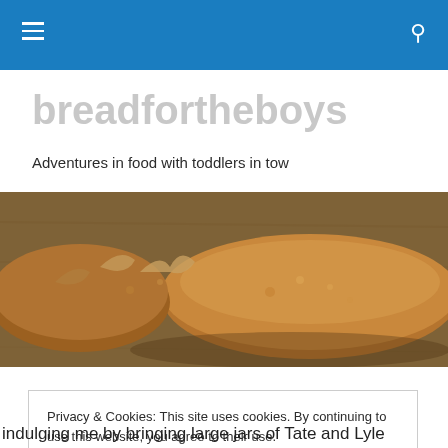breadfortheboys — navigation header with hamburger menu and search icon
breadfortheboys
Adventures in food with toddlers in tow
[Figure (photo): Close-up photo of a rustic bread loaf on a wooden surface]
Privacy & Cookies: This site uses cookies. By continuing to use this website, you agree to their use.
To find out more, including how to control cookies, see here: Cookie Policy
Close and accept
indulging me by bringing large jars of Tate and Lyle